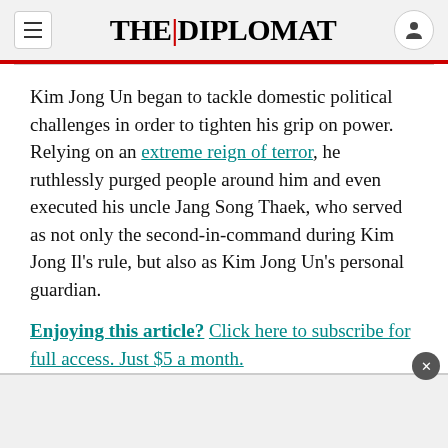THE DIPLOMAT
Kim Jong Un began to tackle domestic political challenges in order to tighten his grip on power. Relying on an extreme reign of terror, he ruthlessly purged people around him and even executed his uncle Jang Song Thaek, who served as not only the second-in-command during Kim Jong Il's rule, but also as Kim Jong Un's personal guardian.
Enjoying this article? Click here to subscribe for full access. Just $5 a month.
Then he moved on to the economy and foreign